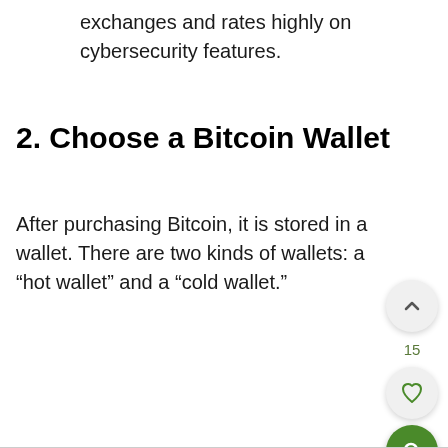exchanges and rates highly on cybersecurity features.
2. Choose a Bitcoin Wallet
After purchasing Bitcoin, it is stored in a wallet. There are two kinds of wallets: a “hot wallet” and a “cold wallet.”